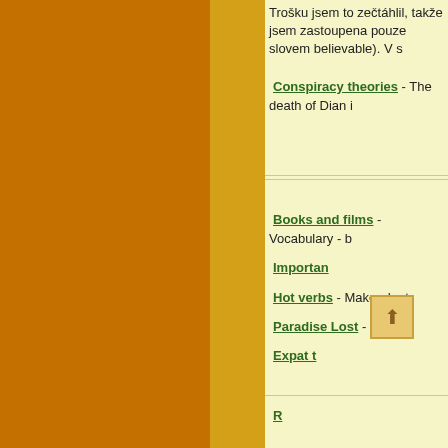Tročku jsem to zečtáhlil, takže jsem zastoupena pouze slovem believable). V s
Conspiracy theories - The death of Diana i
Books and films - Vocabulary - b
Important
Hot verbs - Make, do, t
Paradise Lost - S
Expat t
R